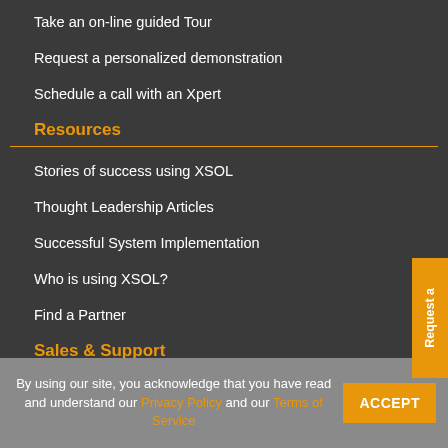Take an on-line guided Tour
Request a personalized demonstration
Schedule a call with an Xpert
Resources
Stories of success using XSOL
Thought Leadership Articles
Successful System Implementation
Who is using XSOL?
Find a Partner
Sales & Support
Pricing and Services
Request a quote
Training and Implementation
By using our site, you acknowledge that you have read and understand our Privacy Policy and our Terms of Service
ACCEPT